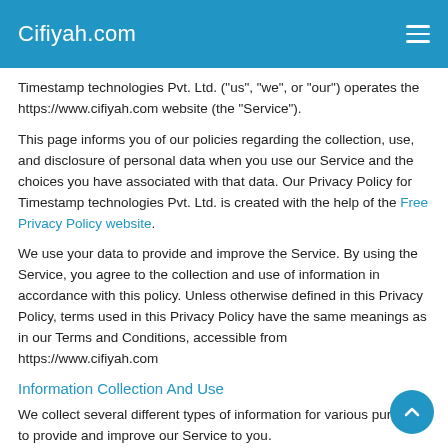Cifiyah.com
Timestamp technologies Pvt. Ltd. ("us", "we", or "our") operates the https://www.cifiyah.com website (the "Service").
This page informs you of our policies regarding the collection, use, and disclosure of personal data when you use our Service and the choices you have associated with that data. Our Privacy Policy for Timestamp technologies Pvt. Ltd. is created with the help of the Free Privacy Policy website.
We use your data to provide and improve the Service. By using the Service, you agree to the collection and use of information in accordance with this policy. Unless otherwise defined in this Privacy Policy, terms used in this Privacy Policy have the same meanings as in our Terms and Conditions, accessible from https://www.cifiyah.com
Information Collection And Use
We collect several different types of information for various purposes to provide and improve our Service to you.
Types of Data Collected
Personal Data